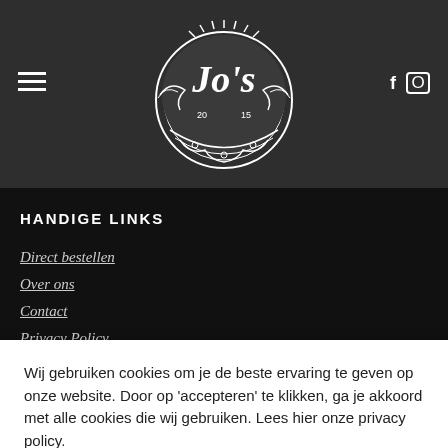Jo's logo header with hamburger menu and social icons (Facebook, Instagram)
HANDIGE LINKS
Direct bestellen
Over ons
Contact
Privacy Policy
Wij gebruiken cookies om je de beste ervaring te geven op onze website. Door op 'accepteren' te klikken, ga je akkoord met alle cookies die wij gebruiken. Lees hier onze privacy policy.
ACCEPTEREN